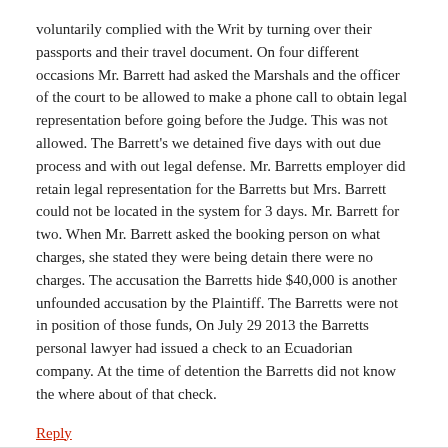voluntarily complied with the Writ by turning over their passports and their travel document. On four different occasions Mr. Barrett had asked the Marshals and the officer of the court to be allowed to make a phone call to obtain legal representation before going before the Judge. This was not allowed. The Barrett's we detained five days with out due process and with out legal defense. Mr. Barretts employer did retain legal representation for the Barretts but Mrs. Barrett could not be located in the system for 3 days. Mr. Barrett for two. When Mr. Barrett asked the booking person on what charges, she stated they were being detain there were no charges. The accusation the Barretts hide $40,000 is another unfounded accusation by the Plaintiff. The Barretts were not in position of those funds, On July 29 2013 the Barretts personal lawyer had issued a check to an Ecuadorian company. At the time of detention the Barretts did not know the where about of that check.
Reply